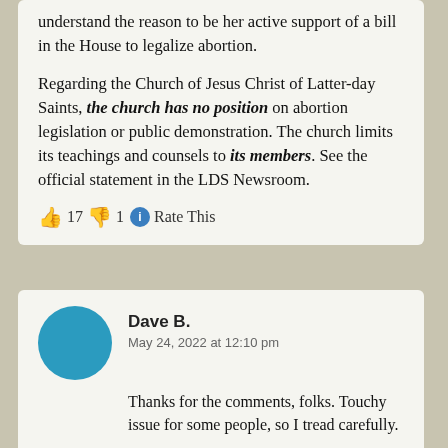understand the reason to be her active support of a bill in the House to legalize abortion.

Regarding the Church of Jesus Christ of Latter-day Saints, the church has no position on abortion legislation or public demonstration. The church limits its teachings and counsels to its members. See the official statement in the LDS Newsroom.
👍 17  👎 1  ℹ Rate This
Dave B.
May 24, 2022 at 12:10 pm
Thanks for the comments, folks. Touchy issue for some people, so I tread carefully.

John Mansfield, your view is welcome. I think my comment, while exaggerated just a bit, is still quite plausible. Pick any real LDS denominationoint in...